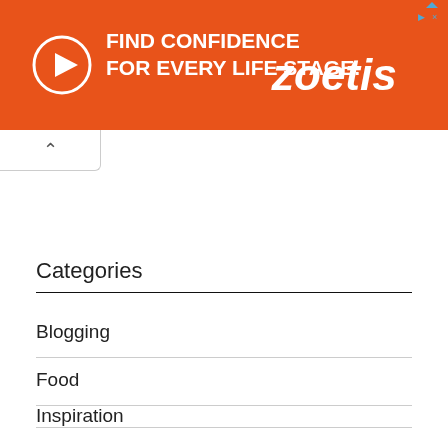[Figure (other): Orange advertisement banner for Zoetis with text 'FIND CONFIDENCE FOR EVERY LIFE STAGE.' and Zoetis logo with play button icon]
Categories
Blogging
Food
Inspiration
Lifestyle